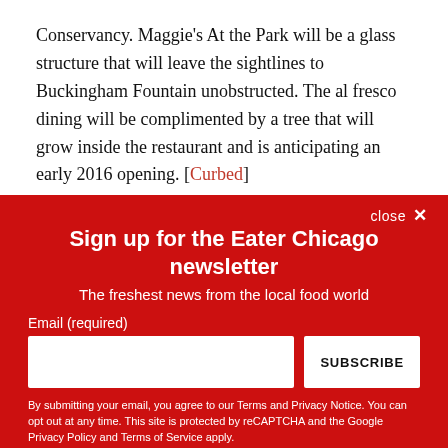Conservancy. Maggie's At the Park will be a glass structure that will leave the sightlines to Buckingham Fountain unobstructed. The al fresco dining will be complimented by a tree that will grow inside the restaurant and is anticipating an early 2016 opening. [Curbed]
close ×
Sign up for the Eater Chicago newsletter
The freshest news from the local food world
Email (required)
SUBSCRIBE
By submitting your email, you agree to our Terms and Privacy Notice. You can opt out at any time. This site is protected by reCAPTCHA and the Google Privacy Policy and Terms of Service apply.